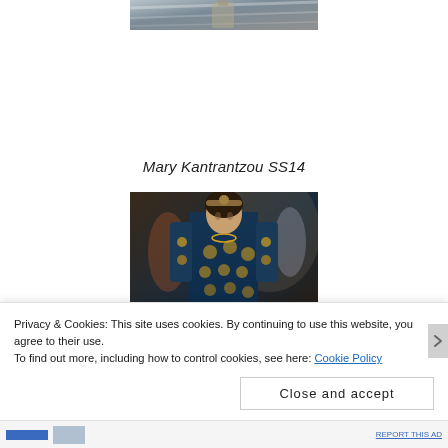[Figure (photo): Top portion of a photo, likely a perfume bottle or similar object on a reflective surface, partially cropped at top of page]
Mary Kantrantzou SS14
[Figure (photo): Fashion runway photo of a model wearing a dark blue and yellow patterned dress with floral/circular motifs, Mary Kantrantzou SS14 collection]
Privacy & Cookies: This site uses cookies. By continuing to use this website, you agree to their use.
To find out more, including how to control cookies, see here: Cookie Policy
Close and accept